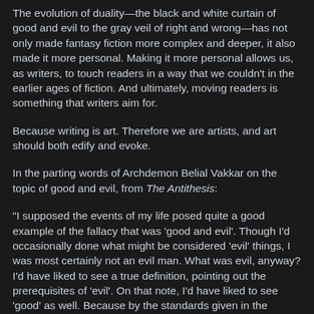The evolution of duality—the black and white curtain of good and evil to the gray veil of right and wrong—has not only made fantasy fiction more complex and deeper, it also made it more personal. Making it more personal allows us, as writers, to touch readers in a way that we couldn't in the earlier ages of fiction. And ultimately, moving readers is something that writers aim for.
Because writing is art. Therefore we are artists, and art should both edify and evoke.
In the parting words of Archdemon Belial Vakkar on the topic of good and evil, from The Antithesis:
"I supposed the events of my life posed quite a good example of the fallacy that was 'good and evil'. Though I'd occasionally done what might be considered 'evil' things, I was most certainly not an evil man. What was evil, anyway? I'd have liked to see a true definition, pointing out the prerequisites of 'evil'. On that note, I'd have liked to see 'good' as well. Because by the standards given in the mythos and religion we'd brainwashed all of you with, I'd say